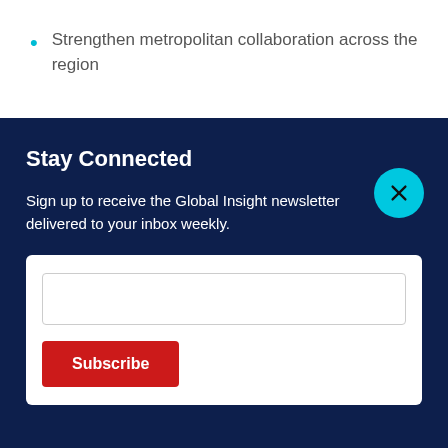Strengthen metropolitan collaboration across the region
Stay Connected
Sign up to receive the Global Insight newsletter delivered to your inbox weekly.